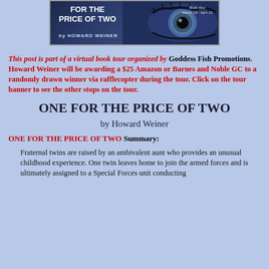[Figure (illustration): Book banner for 'One for the Price of Two' by Howard Weiner, showing a close-up of an eye on a dark blue background with text 'FOR THE PRICE OF TWO by HOWARD WEINER' and 'Blurb Blitz March 19 - April 12']
This post is part of a virtual book tour organized by Goddess Fish Promotions. Howard Weiner will be awarding a $25 Amazon or Barnes and Noble GC to a randomly drawn winner via rafflecopter during the tour. Click on the tour banner to see the other stops on the tour.
ONE FOR THE PRICE OF TWO
by Howard Weiner
ONE FOR THE PRICE OF TWO Summary:
Fraternal twins are raised by an ambivalent aunt who provides an unusual childhood experience. One twin leaves home to join the armed forces and is ultimately assigned to a Special Forces unit conducting